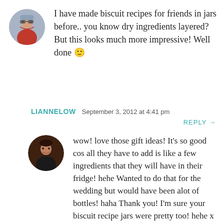I have made biscuit recipes for friends in jars before.. you know dry ingredients layered? But this looks much more impressive! Well done 🙂
LIANNELOW   September 3, 2012 at 4:41 pm
REPLY →
wow! love those gift ideas! It's so good cos all they have to add is like a few ingredients that they will have in their fridge! hehe Wanted to do that for the wedding but would have been alot of bottles! haha Thank you! I'm sure your biscuit recipe jars were pretty too! hehe x